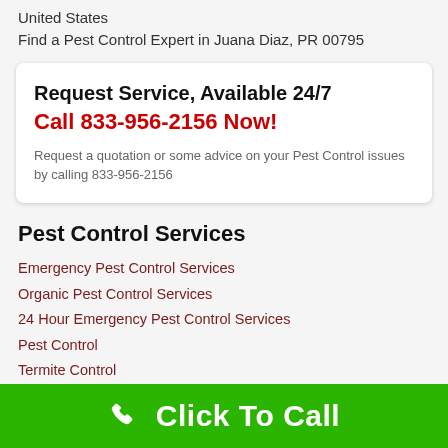United States
Find a Pest Control Expert in Juana Diaz, PR 00795
Request Service, Available 24/7
Call 833-956-2156 Now!
Request a quotation or some advice on your Pest Control issues by calling 833-956-2156
Pest Control Services
Emergency Pest Control Services
Organic Pest Control Services
24 Hour Emergency Pest Control Services
Pest Control
Termite Control
Service Areas
Click To Call